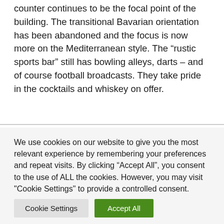counter continues to be the focal point of the building. The transitional Bavarian orientation has been abandoned and the focus is now more on the Mediterranean style. The “rustic sports bar” still has bowling alleys, darts – and of course football broadcasts. They take pride in the cocktails and whiskey on offer.
We use cookies on our website to give you the most relevant experience by remembering your preferences and repeat visits. By clicking “Accept All”, you consent to the use of ALL the cookies. However, you may visit "Cookie Settings" to provide a controlled consent.
Cookie Settings | Accept All